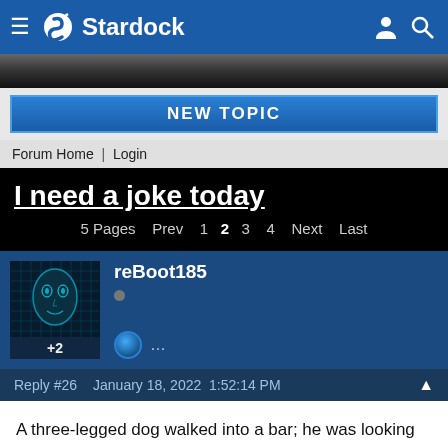Stardock
NEW TOPIC
Forum Home | Login
I need a joke today
5 Pages  Prev  1  2  3  4  Next  Last
reBoot185
+2
Reply #26   January 18, 2022  1:52:14 PM
A three-legged dog walked into a bar; he was looking for the man that shot his paw.